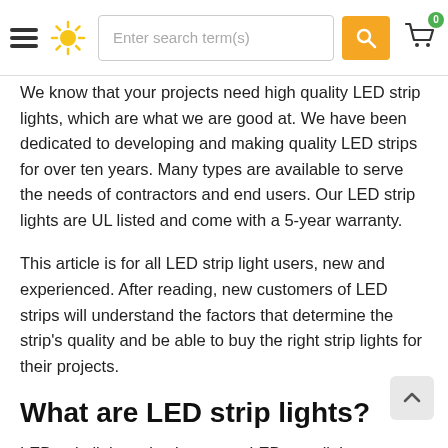Navigation header with hamburger menu, sun icon, search bar, search button, and cart icon with badge 0
We know that your projects need high quality LED strip lights, which are what we are good at. We have been dedicated to developing and making quality LED strips for over ten years. Many types are available to serve the needs of contractors and end users. Our LED strip lights are UL listed and come with a 5-year warranty.
This article is for all LED strip light users, new and experienced. After reading, new customers of LED strips will understand the factors that determine the strip's quality and be able to buy the right strip lights for their projects.
What are LED strip lights?
LED strip lights, also known as LED tape lights, are created by soldering surface-mounted device(SMD) LEDs...